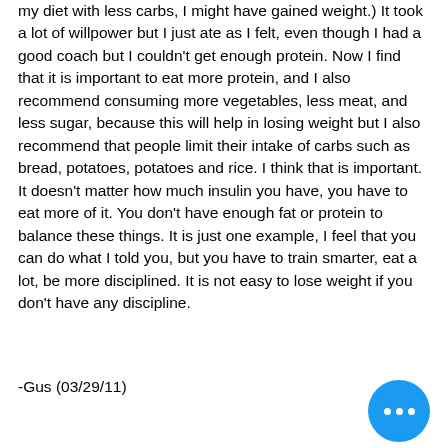my diet with less carbs, I might have gained weight.) It took a lot of willpower but I just ate as I felt, even though I had a good coach but I couldn't get enough protein. Now I find that it is important to eat more protein, and I also recommend consuming more vegetables, less meat, and less sugar, because this will help in losing weight but I also recommend that people limit their intake of carbs such as bread, potatoes, potatoes and rice. I think that is important. It doesn't matter how much insulin you have, you have to eat more of it. You don't have enough fat or protein to balance these things. It is just one example, I feel that you can do what I told you, but you have to train smarter, eat a lot, be more disciplined. It is not easy to lose weight if you don't have any discipline.
-Gus (03/29/11)